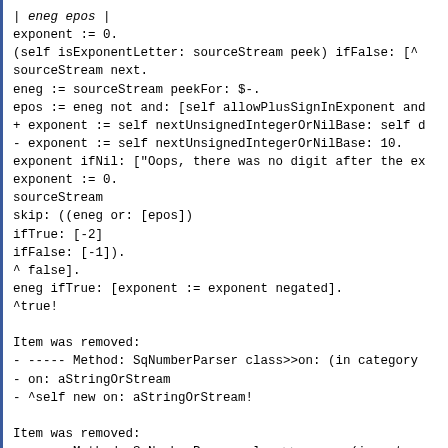| eneg epos |
exponent := 0.
(self isExponentLetter: sourceStream peek) ifFalse: [^
sourceStream next.
eneg := sourceStream peekFor: $-.
epos := eneg not and: [self allowPlusSignInExponent and
+ exponent := self nextUnsignedIntegerOrNilBase: self d
- exponent := self nextUnsignedIntegerOrNilBase: 10.
exponent ifNil: ["Oops, there was no digit after the ex
exponent := 0.
sourceStream
skip: ((eneg or: [epos])
ifTrue: [-2]
ifFalse: [-1]).
^ false].
eneg ifTrue: [exponent := exponent negated].
^true!

Item was removed:
- ----- Method: SqNumberParser class>>on: (in category
- on: aStringOrStream
- ^self new on: aStringOrStream!

Item was removed:
- ----- Method: SqNumberParser class>>parse: (in catego
- parse: aStringOrStream
- ^(self new)
- on: aStringOrStream;
- nextNumber!